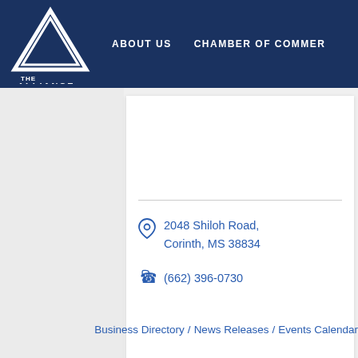[Figure (logo): The Alliance logo — white geometric double-triangle letterform above text 'THE ALLIANCE' on dark navy background]
ABOUT US    CHAMBER OF COMMERCE
2048 Shiloh Road, Corinth, MS 38834
(662) 396-0730
Business Directory / News Releases / Events Calendar